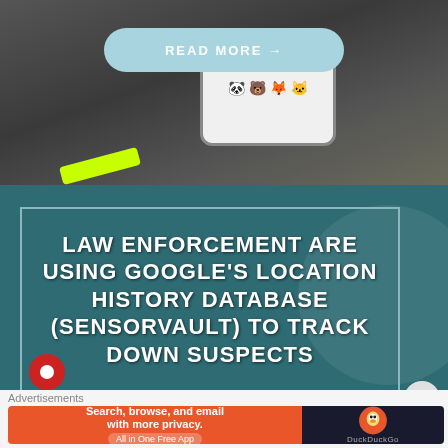[Figure (photo): A hand holding a smartphone with cartoon emoji sticker case against dark background, partially showing neon yellow wristband]
READ MORE →
LAW ENFORCEMENT ARE USING GOOGLE'S LOCATION HISTORY DATABASE (SENSORVAULT) TO TRACK DOWN SUSPECTS
Advertisements
[Figure (screenshot): DuckDuckGo advertisement banner: Search, browse, and email with more privacy. All in One Free App]